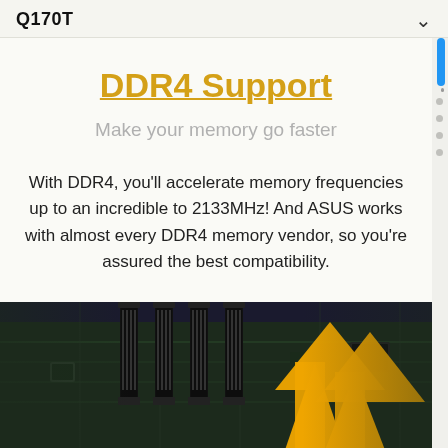Q170T
DDR4 Support
Make your memory go faster
With DDR4, you'll accelerate memory frequencies up to an incredible to 2133MHz! And ASUS works with almost every DDR4 memory vendor, so you're assured the best compatibility.
[Figure (photo): Close-up photograph of a motherboard showing DDR4 memory slots with yellow arrows pointing upward indicating memory insertion direction]